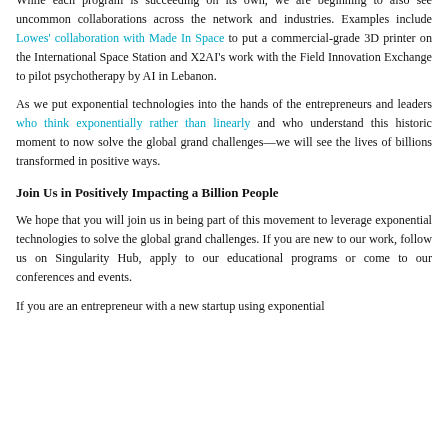our first SingularityU Campus in the Netherlands as we grow and scale globally.
While each program is succeeding on its own, we are beginning to also see uncommon collaborations across the network and industries. Examples include Lowes' collaboration with Made In Space to put a commercial-grade 3D printer on the International Space Station and X2AI's work with the Field Innovation Exchange to pilot psychotherapy by AI in Lebanon.
As we put exponential technologies into the hands of the entrepreneurs and leaders who think exponentially rather than linearly and who understand this historic moment to now solve the global grand challenges—we will see the lives of billions transformed in positive ways.
Join Us in Positively Impacting a Billion People
We hope that you will join us in being part of this movement to leverage exponential technologies to solve the global grand challenges. If you are new to our work, follow us on Singularity Hub, apply to our educational programs or come to our conferences and events.
If you are an entrepreneur with a new startup using exponential